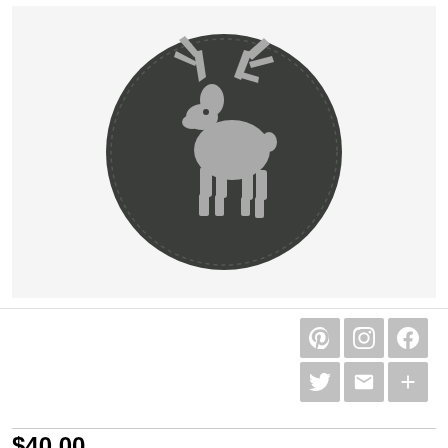[Figure (photo): A circular dark charcoal gray felt coaster with a reindeer/caribou silhouette cut-out pattern in lighter gray felt, with a stitched border around the edge, photographed on a white background.]
[Figure (infographic): Six social media sharing icons in a 2x3 grid: Pinterest (P), Instagram (camera), Facebook (f), Twitter (bird), Fancy (gift box), and Add/More (+), all in light gray square buttons.]
$40.00